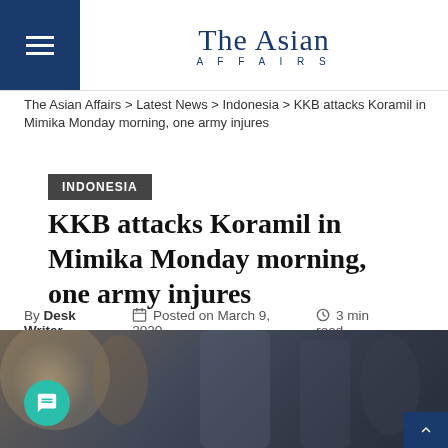The Asian Affairs
The Asian Affairs > Latest News > Indonesia > KKB attacks Koramil in Mimika Monday morning, one army injures
INDONESIA
KKB attacks Koramil in Mimika Monday morning, one army injures
By Desk Writer  Posted on March 9, 2020  3 min read
[Figure (photo): Blurred photo showing military/action scene with dark moody tones, a light source on the left, and dark background]